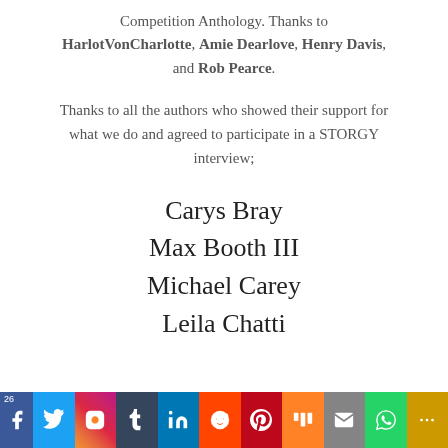Competition Anthology. Thanks to HarlotVonCharlotte, Amie Dearlove, Henry Davis, and Rob Pearce.
Thanks to all the authors who showed their support for what we do and agreed to participate in a STORGY interview;
Carys Bray
Max Booth III
Michael Carey
Leila Chatti
26 | Facebook | Twitter | Instagram | Tumblr | LinkedIn | Reddit | Pinterest | Mix | Email | WhatsApp | More